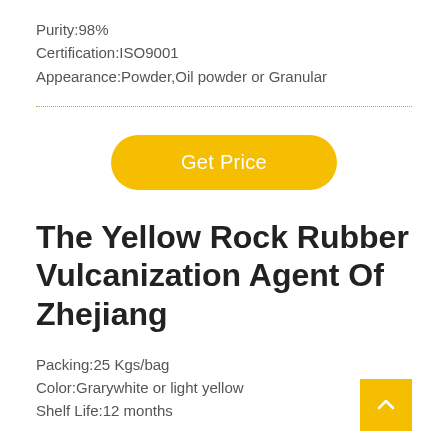Purity:98%
Certification:ISO9001
Appearance:Powder,Oil powder or Granular
[Figure (other): Dotted yellow horizontal divider line]
[Figure (other): Yellow rounded button labeled 'Get Price']
The Yellow Rock Rubber Vulcanization Agent Of Zhejiang
Packing:25 Kgs/bag
Color:Grarywhite or light yellow
Shelf Life:12 months
[Figure (other): Yellow square back-to-top button with upward chevron arrow]